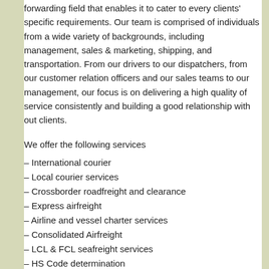forwarding field that enables it to cater to every clients' specific requirements. Our team is comprised of individuals from a wide variety of backgrounds, including management, sales & marketing, shipping, and transportation. From our drivers to our dispatchers, from our customer relation officers and our sales teams to our management, our focus is on delivering a high quality of service consistently and building a good relationship with out clients.
We offer the following services
– International courier
– Local courier services
– Crossborder roadfreight and clearance
– Express airfreight
– Airline and vessel charter services
– Consolidated Airfreight
– LCL & FCL seafreight services
– HS Code determination
– 2nd Hand and new containers Link to Container sales
– Customs clearance Documentation
Daigon clearing Agent Johannesburg is part of a worldwide network of Clearing Agents with branches that can offer services to and from